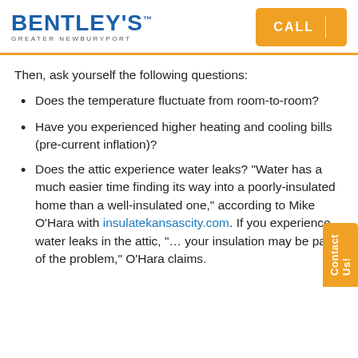[Figure (logo): Bentley's Greater Newburyport logo with orange and blue branding and a CALL button]
Then, ask yourself the following questions:
Does the temperature fluctuate from room-to-room?
Have you experienced higher heating and cooling bills (pre-current inflation)?
Does the attic experience water leaks? “Water has a much easier time finding its way into a poorly-insulated home than a well-insulated one,” according to Mike O’Hara with insulatekansascity.com. If you experience water leaks in the attic, “… your insulation may be part of the problem,” O’Hara claims.